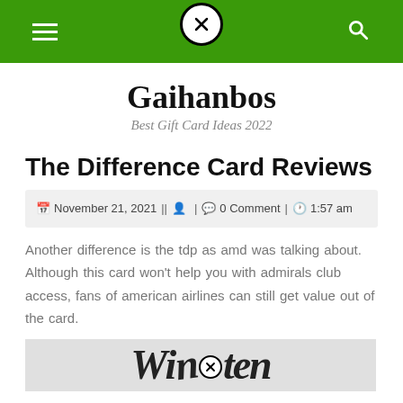Navigation bar with hamburger menu, close button, and search icon
Gaihanbos
Best Gift Card Ideas 2022
The Difference Card Reviews
November 21, 2021 | | 🙍 | 💬 0 Comment | 🕐 1:57 am
Another difference is the tdp as amd was talking about. Although this card won't help you with admirals club access, fans of american airlines can still get value out of the card.
[Figure (photo): Partial image at bottom showing handwritten-style text 'Winter' with a circle-x icon overlay]